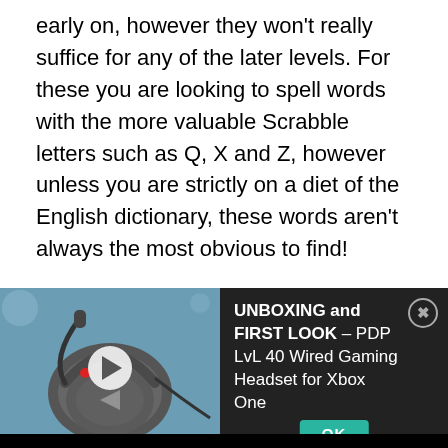early on, however they won't really suffice for any of the later levels. For these you are looking to spell words with the more valuable Scrabble letters such as Q, X and Z, however unless you are strictly on a diet of the English dictionary, these words aren't always the most obvious to find!
[Figure (screenshot): A video player overlay showing a gaming headset (PDP LvL 40 Wired Gaming Headset for Xbox One) with a play button and video title panel on dark background, and an OK button at the bottom.]